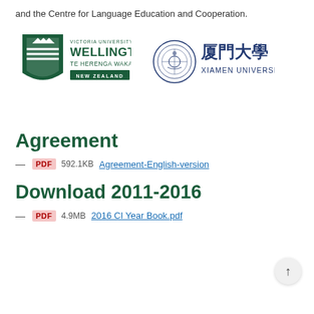and the Centre for Language Education and Cooperation.
[Figure (logo): Victoria University of Wellington Te Herenga Waka New Zealand logo in green]
[Figure (logo): Xiamen University logo in dark blue with Chinese characters 厦門大學]
Agreement
— PDF 592.1KB Agreement-English-version
Download 2011-2016
— PDF 4.9MB 2016 CI Year Book.pdf